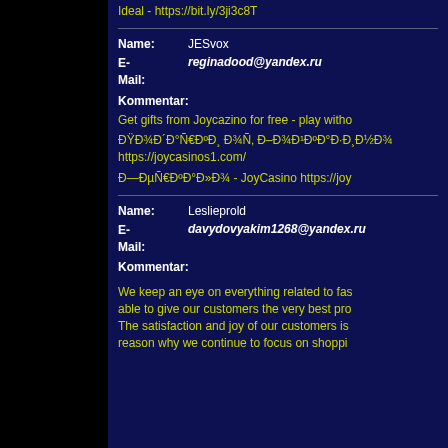Ideal - https://bit.ly/3ji3c8T
Name: JESvox
E-Mail: reginadood@yandex.ru
Kommentar:
Get gifts from Joycazino for free - play witho...
ÐŸÐ¾Ð´Ð°Ñ€Ð°Ð¸ Ð¾Ñ ÐÑ Ð¾Ð¾Ñ Ñ https://joycasinos1.com/
Ð—ÐµÑ€ÐºÐ°Ð»Ð¾ - JoyCasino https://joy...
Name: Leslieprold
E-Mail: davydovyakim1268@yandex.ru
Kommentar:
We keep an eye on everything related to fas... able to give our customers the very best pro... The satisfaction and joy of our customers is reason why we continue to focus on shoppi...